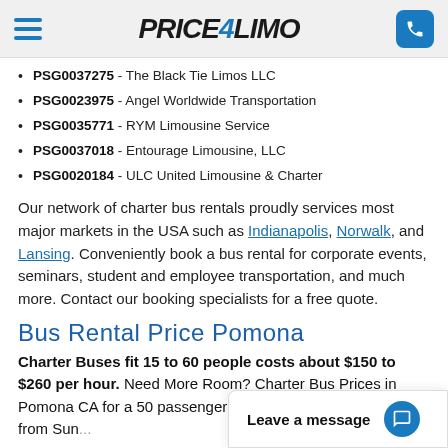Price4Limo
PSG0037275 - The Black Tie Limos LLC
PSG0023975 - Angel Worldwide Transportation
PSG0035771 - RYM Limousine Service
PSG0037018 - Entourage Limousine, LLC
PSG0020184 - ULC United Limousine & Charter
Our network of charter bus rentals proudly services most major markets in the USA such as Indianapolis, Norwalk, and Lansing. Conveniently book a bus rental for corporate events, seminars, student and employee transportation, and much more. Contact our booking specialists for a free quote.
Bus Rental Price Pomona
Charter Buses fit 15 to 60 people costs about $150 to $260 per hour. Need More Room? Charter Bus Prices in Pomona CA for a 50 passenger charter bus is $160 per hour from Sun...